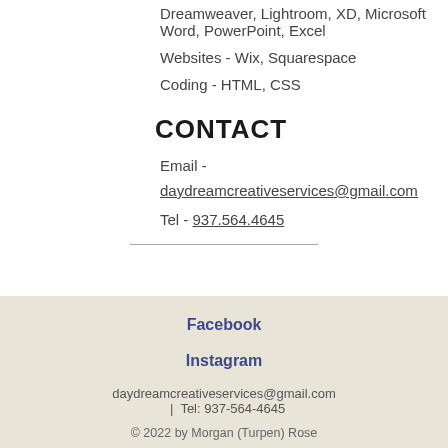Dreamweaver, Lightroom, XD, Microsoft Word, PowerPoint, Excel
Websites - Wix, Squarespace
Coding - HTML, CSS
CONTACT
Email -
daydreamcreativeservices@gmail.com
Tel - 937.564.4645
Facebook
Instagram
daydreamcreativeservices@gmail.com  |  Tel: 937-564-4645
© 2022 by Morgan (Turpen) Rose